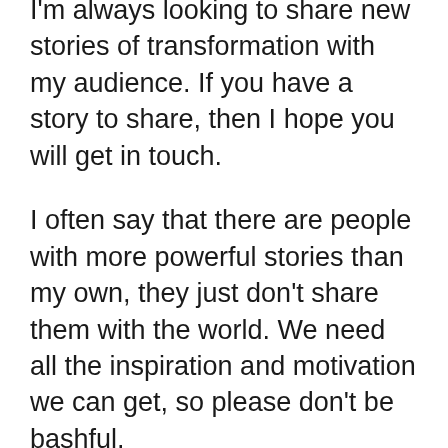I'm always looking to share new stories of transformation with my audience. If you have a story to share, then I hope you will get in touch.
I often say that there are people with more powerful stories than my own, they just don't share them with the world. We need all the inspiration and motivation we can get, so please don't be bashful.
I want to thank you for your continued love and support. I know I couldn't keep doing this without your being along for the ride.
I also know you have lots of demands on your time. You have a small amount of time for education, entertainment, and